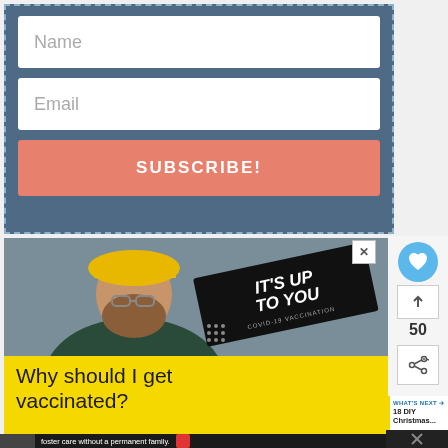Name
Email
SUBSCRIBE!
[Figure (photo): A bearded man wearing a yellow hard hat and glasses in a factory/industrial setting, with an 'It's Up To You - COVID-19 Vaccination' banner overlay]
Why should I get vaccinated?
WHAT'S NEXT → 18 DIY Christmas...
foster care without a permanent family.
50